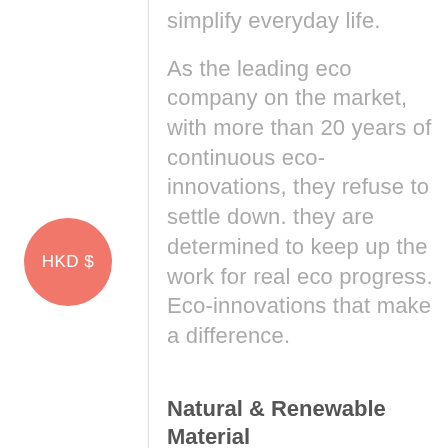simplify everyday life.
As the leading eco company on the market, with more than 20 years of continuous eco-innovations, they refuse to settle down. they are determined to keep up the work for real eco progress. Eco-innovations that make a difference.
[Figure (other): Circular coral/salmon colored badge with white text reading 'HKD $']
Natural & Renewable Material
Their wipes are made of 100 % FSC certified and totally chlorine free wood pulp,